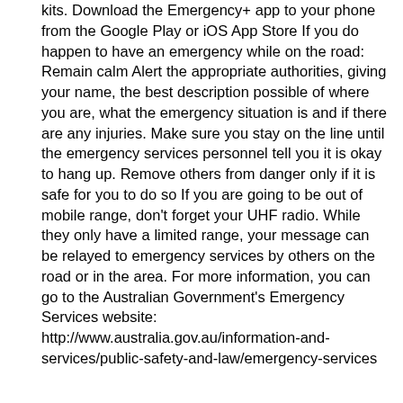St Johns Ambulance offer both courses and first aid kits. Download the Emergency+ app to your phone from the Google Play or iOS App Store If you do happen to have an emergency while on the road: Remain calm Alert the appropriate authorities, giving your name, the best description possible of where you are, what the emergency situation is and if there are any injuries. Make sure you stay on the line until the emergency services personnel tell you it is okay to hang up. Remove others from danger only if it is safe for you to do so If you are going to be out of mobile range, don't forget your UHF radio. While they only have a limited range, your message can be relayed to emergency services by others on the road or in the area. For more information, you can go to the Australian Government's Emergency Services website: http://www.australia.gov.au/information-and-services/public-safety-and-law/emergency-services